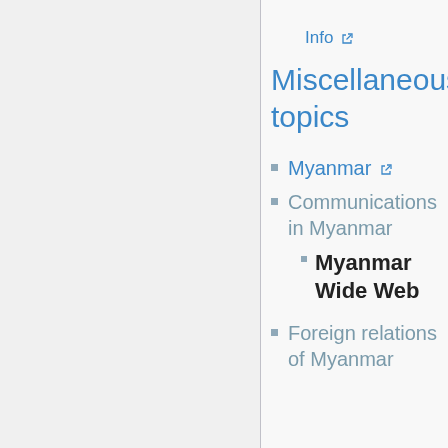Info ↗
Miscellaneous topics
Myanmar ↗
Communications in Myanmar
Myanmar Wide Web
Foreign relations of Myanmar